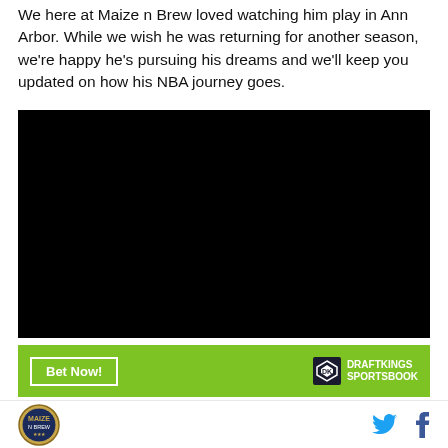We here at Maize n Brew loved watching him play in Ann Arbor. While we wish he was returning for another season, we're happy he's pursuing his dreams and we'll keep you updated on how his NBA journey goes.
[Figure (other): Embedded video player with black background]
[Figure (other): DraftKings Sportsbook advertisement banner with green background, Bet Now button and DraftKings logo]
[Figure (logo): Site logo (circular gold emblem) in footer, with Twitter and Facebook social icons on the right]